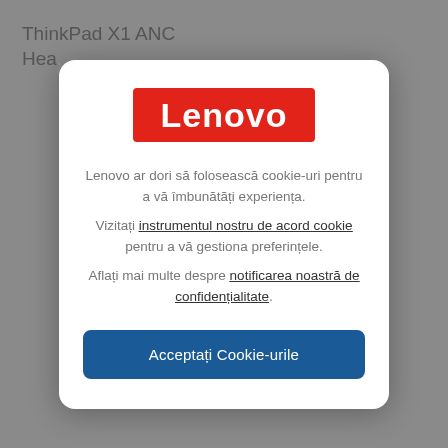ThinkPad X1 ANC
Hea...
[Figure (logo): Lenovo red logo with white text on red rectangle background]
Lenovo ar dori să folosească cookie-uri pentru a vă îmbunătăți experiența. Vizitați instrumentul nostru de acord cookie pentru a vă gestiona preferințele. Aflați mai multe despre notificarea noastră de confidențialitate.
Acceptați Cookie-urile